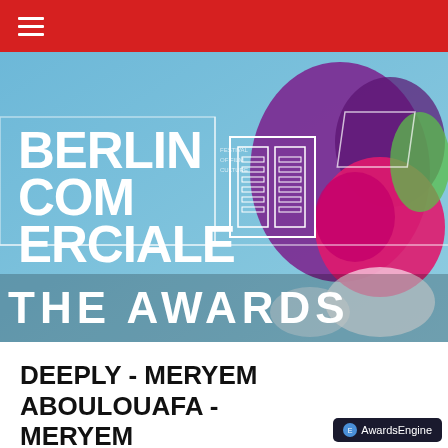Navigation bar with hamburger menu
[Figure (illustration): Berlin Commerciale The Awards hero banner image featuring colorful animated characters and the Berlin Commerciale logo with an outline book/building icon, and bold text reading BERLIN COMMERCIALE and THE AWARDS on a blue/colorful background]
DEEPLY - MERYEM ABOULOUAFA - MERYEM ABOULOUAFA